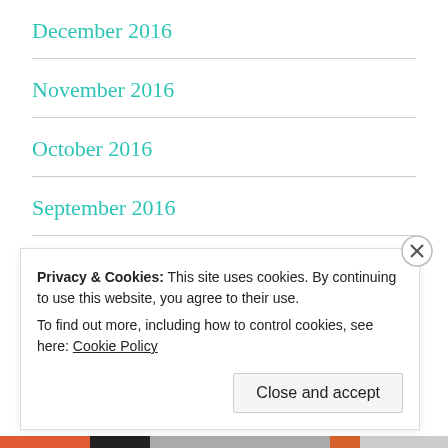December 2016
November 2016
October 2016
September 2016
August 2016
July 2016
Privacy & Cookies: This site uses cookies. By continuing to use this website, you agree to their use. To find out more, including how to control cookies, see here: Cookie Policy
Close and accept